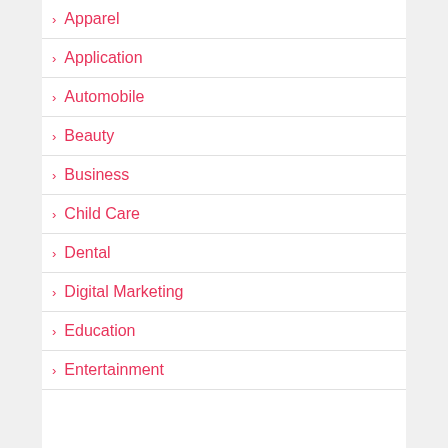Apparel
Application
Automobile
Beauty
Business
Child Care
Dental
Digital Marketing
Education
Entertainment